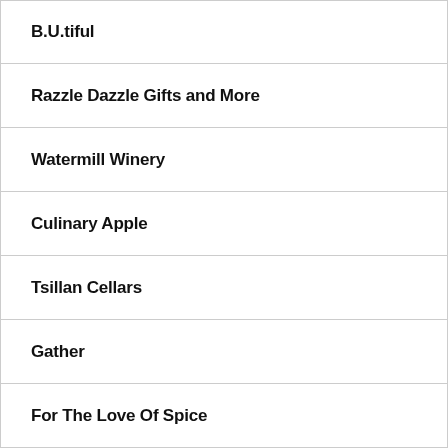B.U.tiful
Razzle Dazzle Gifts and More
Watermill Winery
Culinary Apple
Tsillan Cellars
Gather
For The Love Of Spice